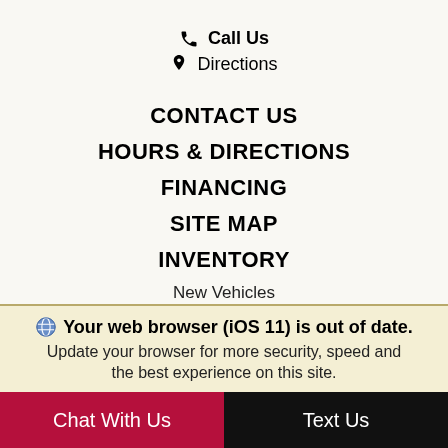📞 Call Us
📍 Directions
CONTACT US
HOURS & DIRECTIONS
FINANCING
SITE MAP
INVENTORY
New Vehicles
Pre-Owned
New Car Specials
Pre-Owned Specials
Homepage Specials
🌐 Your web browser (iOS 11) is out of date. Update your browser for more security, speed and the best experience on this site.
Chat With Us
Text Us